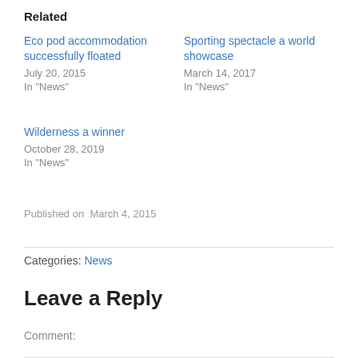Related
Eco pod accommodation successfully floated
July 20, 2015
In "News"
Sporting spectacle a world showcase
March 14, 2017
In "News"
Wilderness a winner
October 28, 2019
In "News"
Published on  March 4, 2015
Categories:  News
Leave a Reply
Comment: